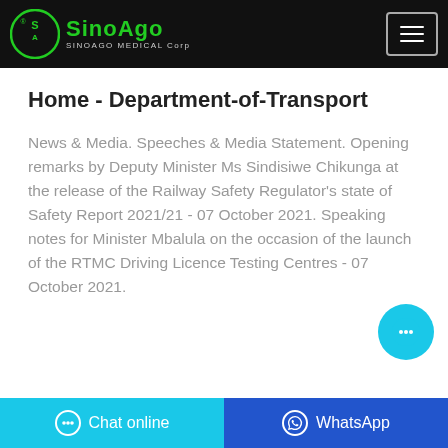SINOAGO MEDICAL Corp
Home - Department-of-Transport
News & Media. Speeches & Media Statement. Opening remarks by Deputy Minister Ms Sindisiwe Chikunga at the release of the Railway Safety Regulator's state of Safety Report 2021/21 - 07 October 2021. Speaking notes for Minister Mbalula on the occasion of the launch of the RTMC Driving Licence Testing Centres - 07 October 2021.
Chat online   WhatsApp